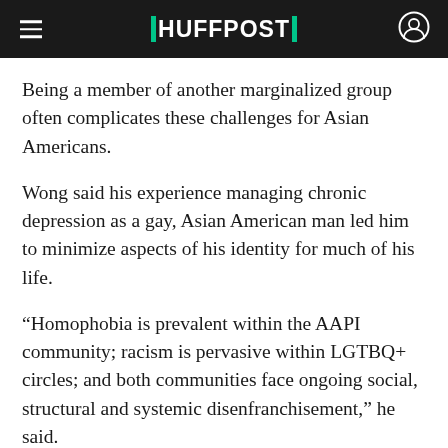HUFFPOST
Being a member of another marginalized group often complicates these challenges for Asian Americans.
Wong said his experience managing chronic depression as a gay, Asian American man led him to minimize aspects of his identity for much of his life.
“Homophobia is prevalent within the AAPI community; racism is pervasive within LGTBQ+ circles; and both communities face ongoing social, structural and systemic disenfranchisement,” he said.
Multiple Asian Americans who identify as